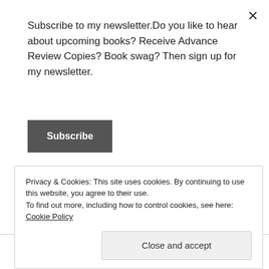Subscribe to my newsletter.Do you like to hear about upcoming books? Receive Advance Review Copies? Book swag? Then sign up for my newsletter.
Subscribe
[Figure (logo): Circular Professional Reader badge with green swoosh design, partially visible, upside-down orientation]
[Figure (logo): Hexagonal badge with '25' partially visible, purple/lavender outline]
Privacy & Cookies: This site uses cookies. By continuing to use this website, you agree to their use.
To find out more, including how to control cookies, see here: Cookie Policy
Close and accept